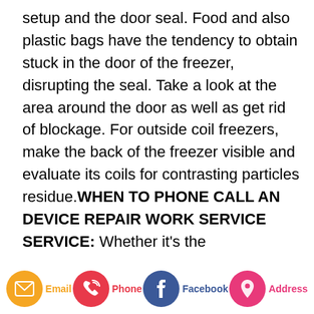setup and the door seal. Food and also plastic bags have the tendency to obtain stuck in the door of the freezer, disrupting the seal. Take a look at the area around the door as well as get rid of blockage. For outside coil freezers, make the back of the freezer visible and evaluate its coils for contrasting particles residue.WHEN TO PHONE CALL AN DEVICE REPAIR WORK SERVICE SERVICE: Whether it's the
[Figure (infographic): Footer bar with four social/contact icons: Email (yellow circle with envelope icon), Phone (red circle with phone icon), Facebook (blue circle with f icon), Address (pink circle with location pin icon), each with a colored label beneath.]